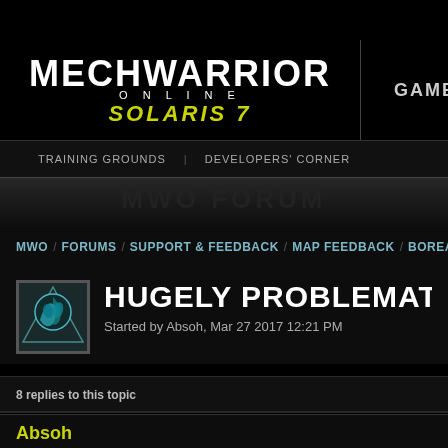[Figure (logo): MechWarrior Online Solaris 7 logo in white and yellow-green text on black background]
GAME
TRAINING GROUNDS / DEVELOPERS' CORNER
MWO / FORUMS / SUPPORT & FEEDBACK / MAP FEEDBACK / BOREAL V
HUGELY PROBLEMATIC M
Started by Absoh, Mar 27 2017 12:21 PM
8 replies to this topic
Absoh